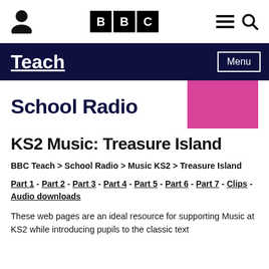[Figure (logo): BBC Teach website screenshot with top navigation bar showing person icon, BBC logo, hamburger menu, and search icon]
Teach | Menu
School Radio
KS2 Music: Treasure Island
BBC Teach > School Radio > Music KS2 > Treasure Island
Part 1 - Part 2 - Part 3 - Part 4 - Part 5 - Part 6 - Part 7 - Clips - Audio downloads
These web pages are an ideal resource for supporting Music at KS2 while introducing pupils to the classic text